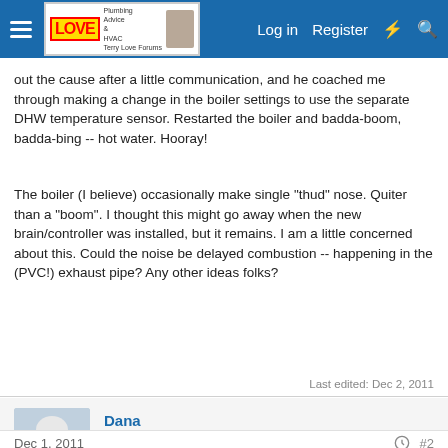Terry Love Forums — Log in | Register
out the cause after a little communication, and he coached me through making a change in the boiler settings to use the separate DHW temperature sensor. Restarted the boiler and badda-boom, badda-bing -- hot water. Hooray!
The boiler (I believe) occasionally make single "thud" nose. Quiter than a "boom". I thought this might go away when the new brain/controller was installed, but it remains. I am a little concerned about this. Could the noise be delayed combustion -- happening in the (PVC!) exhaust pipe? Any other ideas folks?
Last edited: Dec 2, 2011
Dana
In the trades
Dec 1, 2011
#2
Micro-explosions in the exhaust are possible, and are a symptom that should not be ignored, since it can crack the PVC